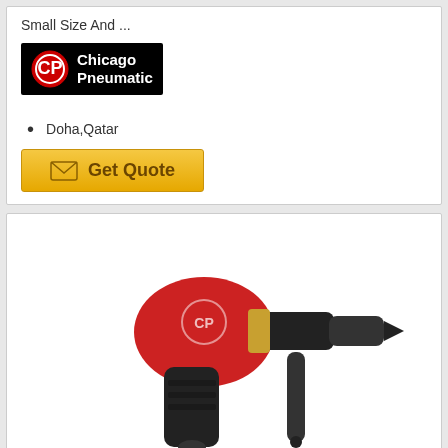Small Size And ...
[Figure (logo): Chicago Pneumatic logo on black background]
Doha,Qatar
[Figure (other): Get Quote button with envelope icon, gold/yellow background]
[Figure (photo): Red and black air drill tool with keyless chuck and side handle]
AIR DRILLS
* Ergonomic Grip And Lightweight * ...
[Figure (logo): Chicago Pneumatic logo on black background (partial, bottom)]